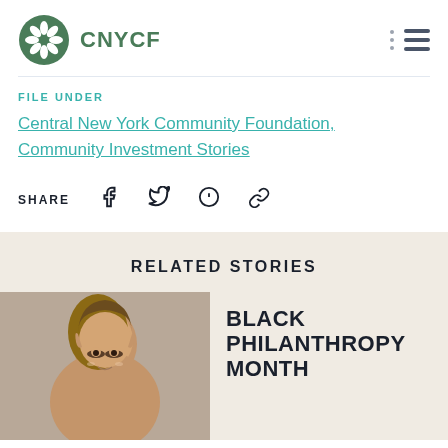[Figure (logo): CNYCF logo with green artichoke/leaf emblem and text CNYCF]
FILE UNDER
Central New York Community Foundation, Community Investment Stories
SHARE
RELATED STORIES
[Figure (photo): Headshot of a woman with long brown hair]
BLACK PHILANTHROPY MONTH